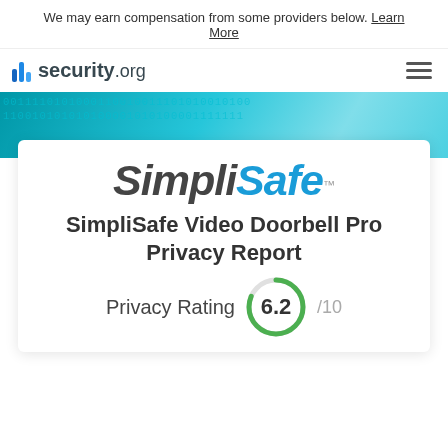We may earn compensation from some providers below. Learn More
[Figure (logo): security.org logo with colored bar chart icon]
[Figure (illustration): Teal/blue binary code banner background]
[Figure (logo): SimpliSafe brand logo in dark and blue italic text]
SimpliSafe Video Doorbell Pro Privacy Report
Privacy Rating 6.2 /10